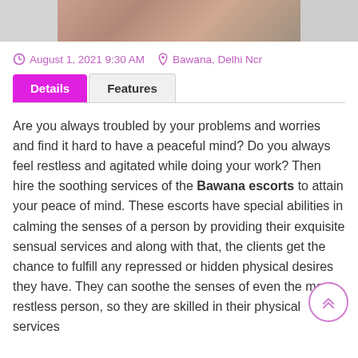[Figure (photo): Partial photo strip showing a person, cropped at top of page]
August 1, 2021 9:30 AM  Bawana, Delhi Ncr
Details  Features (tabs)
Are you always troubled by your problems and worries and find it hard to have a peaceful mind? Do you always feel restless and agitated while doing your work? Then hire the soothing services of the Bawana escorts to attain your peace of mind. These escorts have special abilities in calming the senses of a person by providing their exquisite sensual services and along with that, the clients get the chance to fulfill any repressed or hidden physical desires they have. They can soothe the senses of even the most restless person, so they are skilled in their physical services